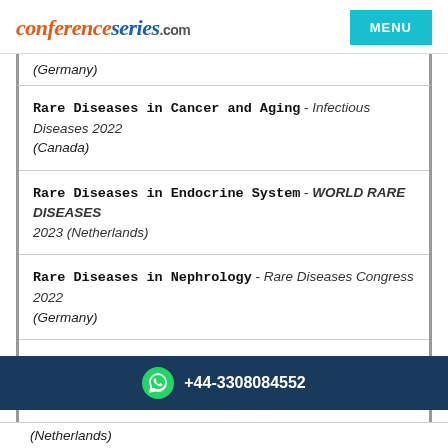conferenceseries.com | MENU
(Germany)
Rare Diseases in Cancer and Aging - Infectious Diseases 2022 (Canada)
Rare Diseases in Endocrine System - WORLD RARE DISEASES 2023 (Netherlands)
Rare Diseases in Nephrology - Rare Diseases Congress 2022 (Germany)
Rare Diseases in Neurology - Rare Diseases Congress 2022 (Germany)
Rare Diseases of Lymphatic System - Rare Diseases Congress 2022 (Germany)
+44-3308084552
(Netherlands)